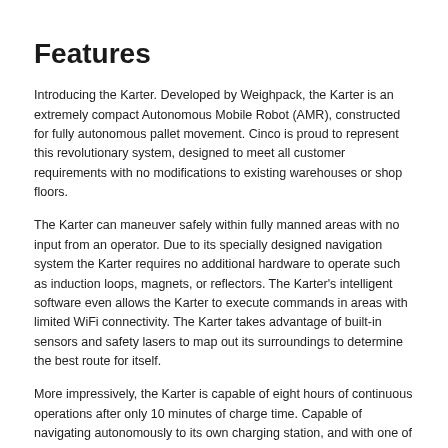Features
Introducing the Karter. Developed by Weighpack, the Karter is an extremely compact Autonomous Mobile Robot (AMR), constructed for fully autonomous pallet movement. Cinco is proud to represent this revolutionary system, designed to meet all customer requirements with no modifications to existing warehouses or shop floors.
The Karter can maneuver safely within fully manned areas with no input from an operator. Due to its specially designed navigation system the Karter requires no additional hardware to operate such as induction loops, magnets, or reflectors. The Karter's intelligent software even allows the Karter to execute commands in areas with limited WiFi connectivity. The Karter takes advantage of built-in sensors and safety lasers to map out its surroundings to determine the best route for itself.
More impressively, the Karter is capable of eight hours of continuous operations after only 10 minutes of charge time. Capable of navigating autonomously to its own charging station, and with one of a kind quick charge technology, the Karter candefray the total labor cost of